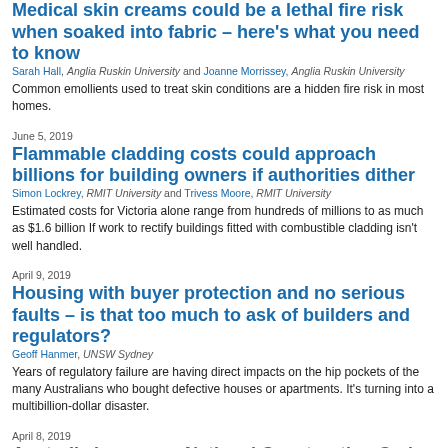Medical skin creams could be a lethal fire risk when soaked into fabric – here's what you need to know
Sarah Hall, Anglia Ruskin University and Joanne Morrissey, Anglia Ruskin University
Common emollients used to treat skin conditions are a hidden fire risk in most homes.
June 5, 2019
Flammable cladding costs could approach billions for building owners if authorities dither
Simon Lockrey, RMIT University and Trivess Moore, RMIT University
Estimated costs for Victoria alone range from hundreds of millions to as much as $1.6 billion If work to rectify buildings fitted with combustible cladding isn't well handled.
April 9, 2019
Housing with buyer protection and no serious faults – is that too much to ask of builders and regulators?
Geoff Hanmer, UNSW Sydney
Years of regulatory failure are having direct impacts on the hip pockets of the many Australians who bought defective houses or apartments. It's turning into a multibillion-dollar disaster.
April 8, 2019
Australia has a new National Construction Code, but it's